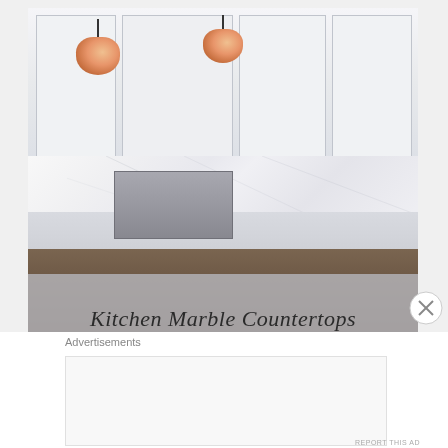[Figure (photo): Kitchen interior with white cabinets, marble backsplash, copper/rose-gold pendant lights, stainless steel stove, dark wood island countertop with fruit bowl and stacked plates. Text overlay at bottom reads 'Kitchen Marble Countertops' with subtitle 'a collection of 12 gorgeous kitchen marble countertops curated by le zoe musings'.]
Kitchen Marble Countertops
a collection of 12 gorgeous kitchen marble countertops curated by le zoe musings
Advertisements